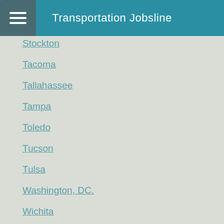Transportation Jobsline
Stockton
Tacoma
Tallahassee
Tampa
Toledo
Tucson
Tulsa
Washington, DC.
Wichita
Wilmington
Youngstown